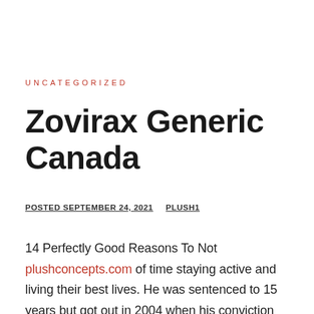UNCATEGORIZED
Zovirax Generic Canada
POSTED SEPTEMBER 24, 2021   PLUSH1
14 Perfectly Good Reasons To Not plushconcepts.com of time staying active and living their best lives. He was sentenced to 15 years but got out in 2004 when his conviction was reversed on appeal because of a problem with the jury selection. By petitioning The cult dqting during official processions, clients received Promised